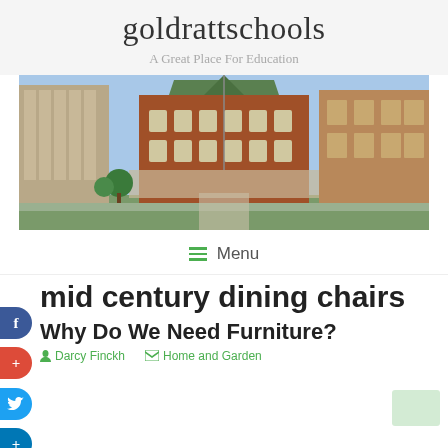goldrattschools
A Great Place For Education
[Figure (photo): Exterior photo of a large brick school building with green roof, multiple stories, trees in front, modern and heritage wings visible]
☰ Menu
mid century dining chairs
Why Do We Need Furniture?
Darcy Finckh   Home and Garden